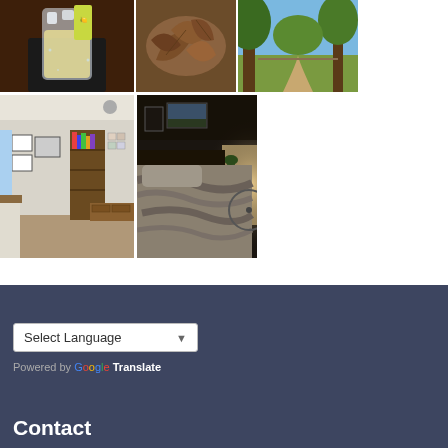[Figure (photo): Photo of a drink/beverage in a glass on a dark coaster on a wooden table]
[Figure (photo): Photo of dried brown leaves on a surface]
[Figure (photo): Photo of a park with trees in autumn colors]
[Figure (photo): Photo of a bedroom with bookshelves, framed pictures on walls, and a bed]
[Figure (photo): Photo of a dimly lit bedroom with a made/unmade bed and sunlight coming through]
Select Language
Powered by Google Translate
Contact